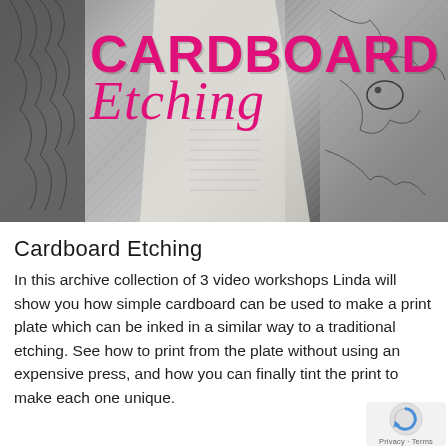[Figure (photo): Cardboard Etching promotional image showing sketchy animal drawings (bird/deer) on paper, with large pink/magenta bold text 'CARDBOARD' and italic script 'Etching' overlaid on the image]
Cardboard Etching
In this archive collection of 3 video workshops Linda will show you how simple cardboard can be used to make a print plate which can be inked in a similar way to a traditional etching. See how to print from the plate without using an expensive press, and how you can finally tint the print to make each one unique.
[Figure (logo): reCAPTCHA privacy badge with arrow icon and 'Privacy - Terms' text]